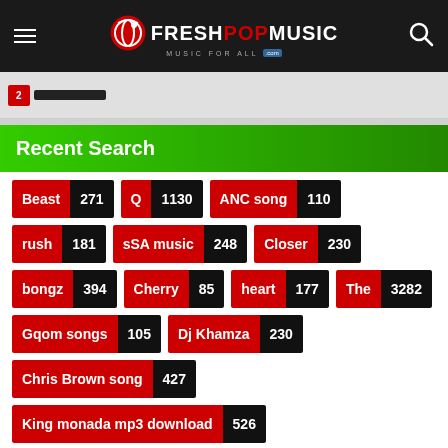FRESHPOPMUSIC - MUSIC FOR ALL .com
Recent Search
Beast 271
Q 1130
ANC song 110
rush 181
sSA music 248
Closer 230
bongz 394
Cherry 85
heart 177
The 3282
Gqom songs 105
Dj Khamza 230
Chris Brown song 427
King monada mp3 download 526
Justin Bieber mp3 download 81